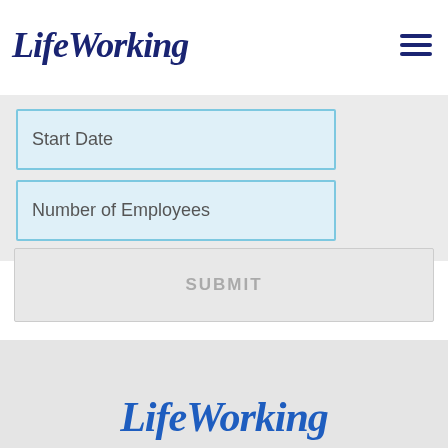[Figure (logo): LifeWorking logo in dark navy blue italic serif font, top left of header]
[Figure (other): Hamburger menu icon (three horizontal lines) in dark navy blue, top right of header]
Start Date
Number of Employees
SUBMIT
[Figure (logo): LifeWorking logo in medium blue italic serif font, centered at bottom of page]